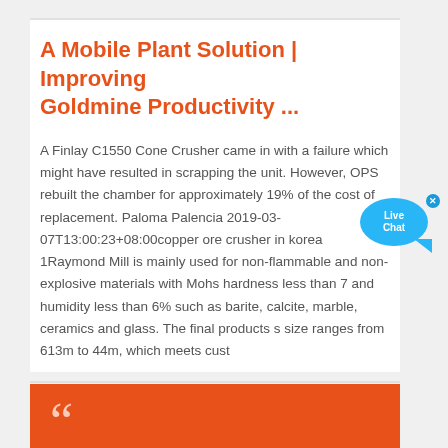A Mobile Plant Solution | Improving Goldmine Productivity ...
A Finlay C1550 Cone Crusher came in with a failure which might have resulted in scrapping the unit. However, OPS rebuilt the chamber for approximately 19% of the cost of replacement. Paloma Palencia 2019-03-07T13:00:23+08:00copper ore crusher in korea 1Raymond Mill is mainly used for non-flammable and non-explosive materials with Mohs hardness less than 7 and humidity less than 6% such as barite, calcite, marble, ceramics and glass. The final products s size ranges from 613m to 44m, which meets cust
[Figure (other): Live Chat bubble overlay with cyan/blue circular bubble showing 'Live Chat' text and a close (x) button]